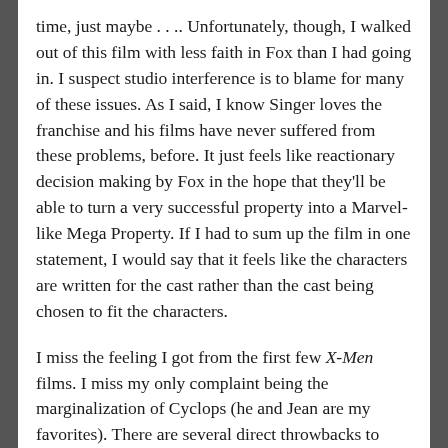time, just maybe . . ..  Unfortunately, though, I walked out of this film with less faith in Fox than I had going in.  I suspect studio interference is to blame for many of these issues.  As I said, I know Singer loves the franchise and his films have never suffered from these problems, before.  It just feels like reactionary decision making by Fox in the hope that they'll be able to turn a very successful property into a Marvel-like Mega Property.  If I had to sum up the film in one statement, I would say that it feels like the characters are written for the cast rather than the cast being chosen to fit the characters.
I miss the feeling I got from the first few X-Men films.  I miss my only complaint being the marginalization of Cyclops (he and Jean are my favorites).  There are several direct throwbacks to